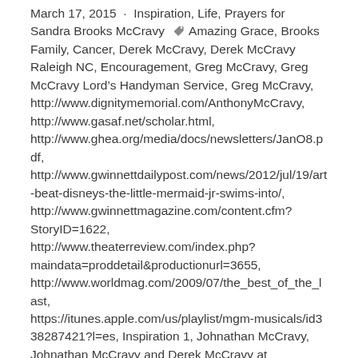March 17, 2015 · Inspiration, Life, Prayers for Sandra Brooks McCravy 🏷 Amazing Grace, Brooks Family, Cancer, Derek McCravy, Derek McCravy Raleigh NC, Encouragement, Greg McCravy, Greg McCravy Lord's Handyman Service, Greg McCravy, http://www.dignitymemorial.com/AnthonyMcCravy, http://www.gasaf.net/scholar.html, http://www.ghea.org/media/docs/newsletters/JanO8.pdf, http://www.gwinnettdailypost.com/news/2012/jul/19/art-beat-disneys-the-little-mermaid-jr-swims-into/, http://www.gwinnettmagazine.com/content.cfm?StoryID=1622, http://www.theaterreview.com/index.php?maindata=proddetail&productionurl=3655, http://www.worldmag.com/2009/07/the_best_of_the_last, https://itunes.apple.com/us/playlist/mgm-musicals/id338287421?l=es, Inspiration 1, Johnathan McCravy, Johnathan McCravy and Derek McCravy at http://www.dignitymemorial.com/AnthonyMcCravy, Johnathan McCravy Raleigh NC, Sandi McCravy Greg